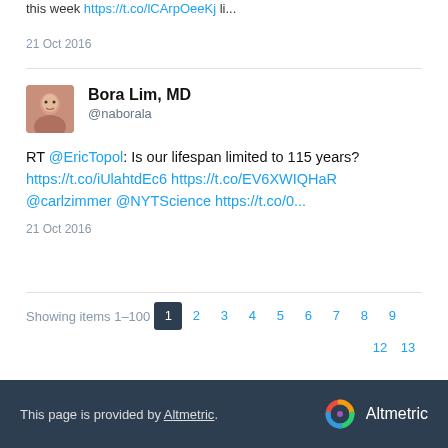this week https://t.co/lCArpOeeKj li...
21 Oct 2016
Bora Lim, MD @naborala
RT @EricTopol: Is our lifespan limited to 115 years? https://t.co/iUlahtdEc6 https://t.co/EV6XWIQHaR @carlzimmer @NYTScience https://t.co/0...
21 Oct 2016
Showing items 1–100  1  2  3  4  5  6  7  8  9  12  13
This page is provided by Altmetric.